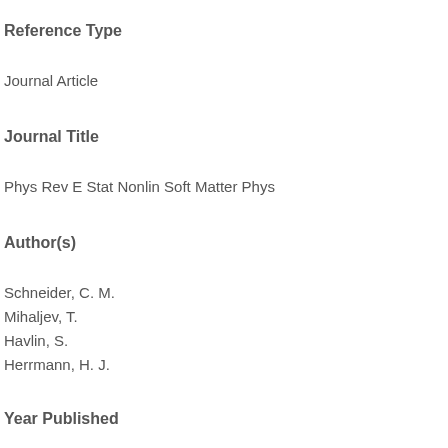Reference Type
Journal Article
Journal Title
Phys Rev E Stat Nonlin Soft Matter Phys
Author(s)
Schneider, C. M.
Mihaljev, T.
Havlin, S.
Herrmann, H. J.
Year Published